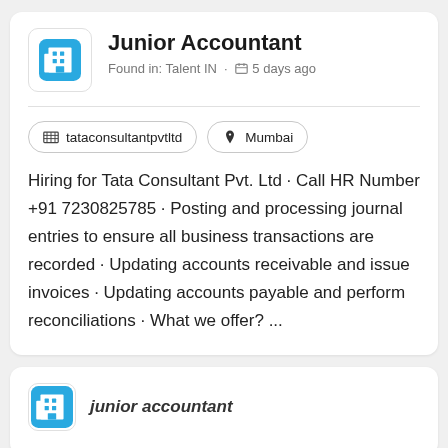Junior Accountant
Found in: Talent IN · 5 days ago
tataconsultantpvtltd
Mumbai
Hiring for Tata Consultant Pvt. Ltd · Call HR Number +91 7230825785 · Posting and processing journal entries to ensure all business transactions are recorded · Updating accounts receivable and issue invoices · Updating accounts payable and perform reconciliations · What we offer? ...
junior accountant